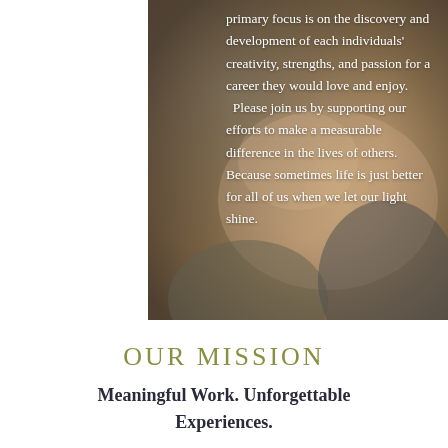[Figure (photo): Close-up photo of hands holding, with warm brown and tan tones, serving as background for white overlay text.]
primary focus is on the discovery and development of each individuals' creativity, strengths, and passion for a career they would love and enjoy. Please join us by supporting our efforts to make a measurable difference in the lives of others. Because sometimes life is just better for all of us when we let our light shine.
OUR MISSION
Meaningful Work. Unforgettable Experiences.